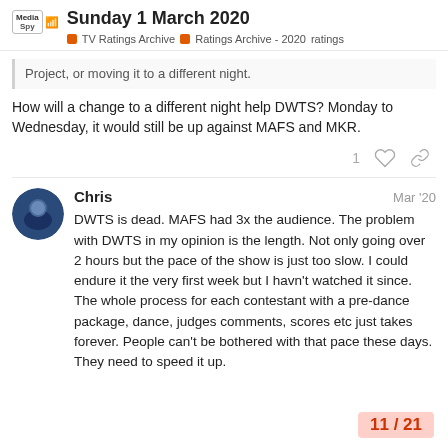Sunday 1 March 2020 | Media Spy | TV Ratings Archive > Ratings Archive - 2020 > ratings
Project, or moving it to a different night.
How will a change to a different night help DWTS? Monday to Wednesday, it would still be up against MAFS and MKR.
1 ♡ 🔗
Chris  Mar '20
DWTS is dead. MAFS had 3x the audience. The problem with DWTS in my opinion is the length. Not only going over 2 hours but the pace of the show is just too slow. I could endure it the very first week but I havn't watched it since. The whole process for each contestant with a pre-dance package, dance, judges comments, scores etc just takes forever. People can't be bothered with that pace these days. They need to speed it up.
11 / 21